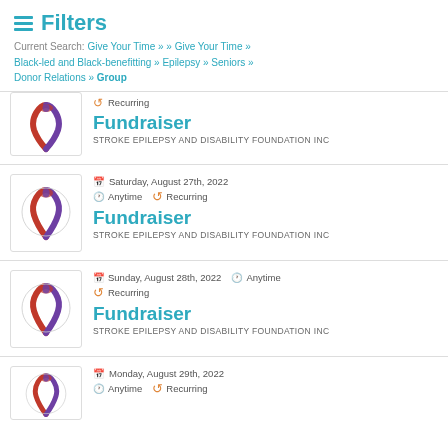Filters
Current Search: Give Your Time » » Give Your Time » Black-led and Black-benefitting » Epilepsy » Seniors » Donor Relations » Group
Recurring | Fundraiser | STROKE EPILEPSY AND DISABILITY FOUNDATION INC
Saturday, August 27th, 2022 | Anytime | Recurring | Fundraiser | STROKE EPILEPSY AND DISABILITY FOUNDATION INC
Sunday, August 28th, 2022 | Anytime | Recurring | Fundraiser | STROKE EPILEPSY AND DISABILITY FOUNDATION INC
Monday, August 29th, 2022 | Anytime | Recurring